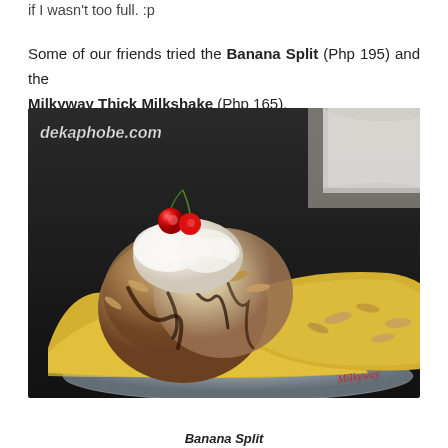if I wasn't too full. :p
Some of our friends tried the Banana Split (Php 195) and the Milkyway Thick Milkshake (Php 165).
[Figure (photo): A banana split dessert served in a glass dish, topped with ice cream scoops, whipped cream, chocolate sauce, sliced almonds, and two red cherries. A watermark reads dekaphobe.com.]
Banana Split